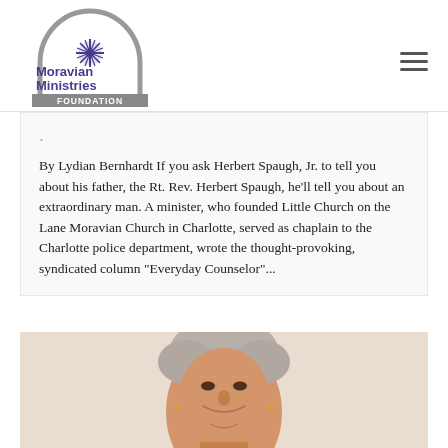[Figure (logo): Moravian Ministries Foundation logo with arch and star graphic]
By Lydian Bernhardt If you ask Herbert Spaugh, Jr. to tell you about his father, the Rt. Rev. Herbert Spaugh, he'll tell you about an extraordinary man. A minister, who founded Little Church on the Lane Moravian Church in Charlotte, served as chaplain to the Charlotte police department, wrote the thought-provoking, syndicated column “Everyday Counselor”...
[Figure (photo): Portrait photo of an elderly woman with short gray hair, smiling, cropped at chin level]